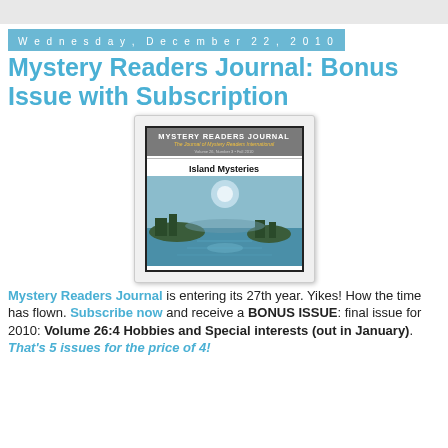Wednesday, December 22, 2010
Mystery Readers Journal: Bonus Issue with Subscription
[Figure (illustration): Cover of Mystery Readers Journal magazine showing 'Island Mysteries' issue with a painting of islands in misty blue water under a moonlit sky.]
Mystery Readers Journal is entering its 27th year. Yikes! How the time has flown. Subscribe now and receive a BONUS ISSUE: final issue for 2010: Volume 26:4 Hobbies and Special interests (out in January). That's 5 issues for the price of 4!